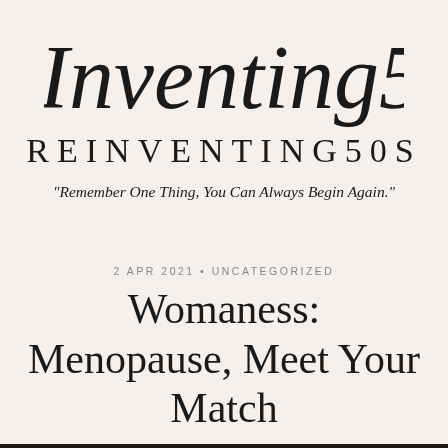[Figure (logo): Reinventing50s script/cursive logo]
REINVENTING50S
"Remember One Thing, You Can Always Begin Again."
2 APR 2021 • UNCATEGORIZED
Womaness: Menopause, Meet Your Match